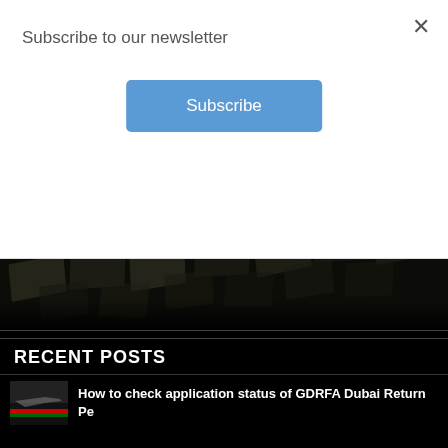Subscribe to our newsletter
Subscribe
[Figure (photo): Dark background with scattered photo tiles arranged in a perspective grid pattern]
ABOUT ME
Shafeeq Bin Hamza
Zaishan
zainul
RECENT POSTS
How to check application status of GDRFA Dubai Return Pe